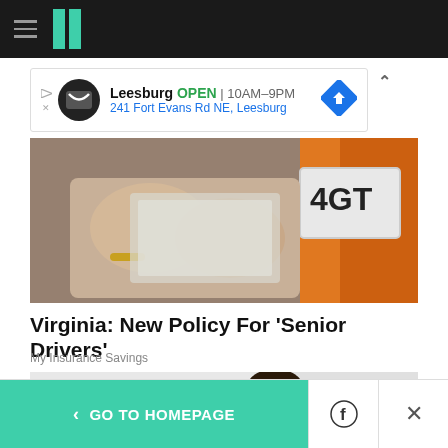HuffPost navigation bar with hamburger menu and logo
[Figure (screenshot): Advertisement banner: Leesburg OPEN 10AM–9PM, 241 Fort Evans Rd NE, Leesburg with store logo and map pin icon]
[Figure (photo): Hands holding a license plate near a vehicle with orange bumper]
Virginia: New Policy For 'Senior Drivers'
My Insurance Savings
[Figure (photo): Healthcare worker wearing a surgical mask and green scrubs]
< GO TO HOMEPAGE  [Facebook icon]  [Twitter icon]  X